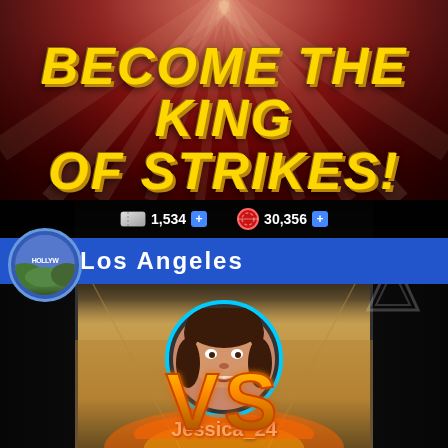[Figure (screenshot): Mobile bowling game screenshot. Top half shows dark red background with spotlight rays and bold yellow italic text 'BECOME THE KING OF STRIKES!'. Bottom half shows a bowling alley scene with a player profile showing username Jessica_24, UK flag, level 21 star, wager of 5000 chips, currency bar showing 1,534 tickets and 30,356 chips, Los Angeles location with Hollywood sign icon, and a VS graphic at the bottom.]